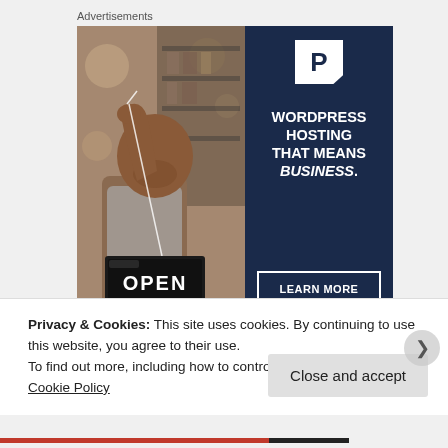Advertisements
[Figure (photo): Advertisement banner: left side shows a woman holding an OPEN sign (photo), right side is dark navy blue with a P logo, text reading WORDPRESS HOSTING THAT MEANS BUSINESS., and a LEARN MORE button.]
Privacy & Cookies: This site uses cookies. By continuing to use this website, you agree to their use.
To find out more, including how to control cookies, see here: Cookie Policy
Close and accept